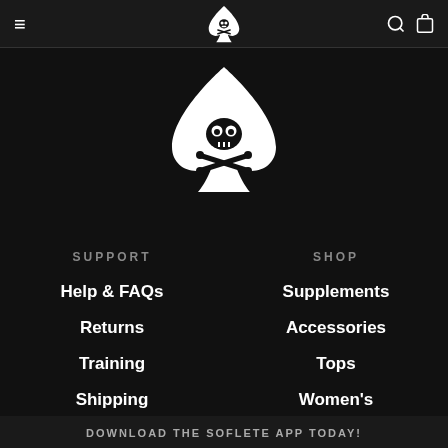≡  [logo]  🔍 🛍
[Figure (logo): Soflete skull and crossbones inside a spade card suit symbol, white on black, large centered logo]
SUPPORT
Help & FAQs
Returns
Training
Shipping
Contact Us
SHOP
Supplements
Accessories
Tops
Women's
Bottoms
DOWNLOAD THE SOFLETE APP TODAY!